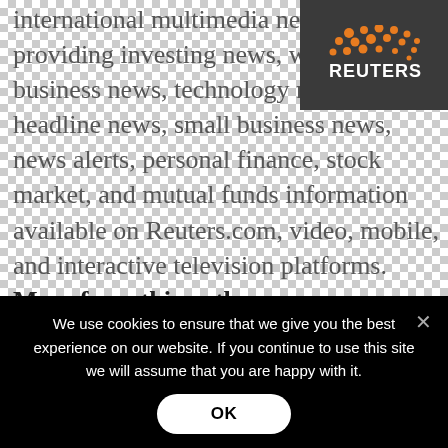[Figure (logo): Reuters logo: dark grey background with orange dot pattern and white REUTERS text]
international multimedia news agency, providing investing news, world news, business news, technology news, headline news, small business news, news alerts, personal finance, stock market, and mutual funds information available on Reuters.com, video, mobile, and interactive television platforms. More from this author.
SUBSCRIBE
If you enjoyed this article, subscribe now to
We use cookies to ensure that we give you the best experience on our website. If you continue to use this site we will assume that you are happy with it.
OK